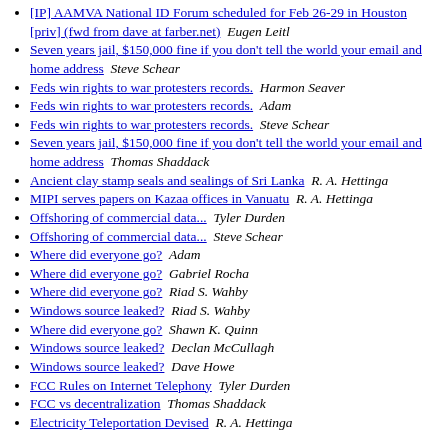[IP] AAMVA National ID Forum scheduled for Feb 26-29 in Houston [priv] (fwd from dave at farber.net)  Eugen Leitl
Seven years jail, $150,000 fine if you don't tell the world your email and home address  Steve Schear
Feds win rights to war protesters records.  Harmon Seaver
Feds win rights to war protesters records.  Adam
Feds win rights to war protesters records.  Steve Schear
Seven years jail, $150,000 fine if you don't tell the world your email and home address  Thomas Shaddack
Ancient clay stamp seals and sealings of Sri Lanka  R. A. Hettinga
MIPI serves papers on Kazaa offices in Vanuatu  R. A. Hettinga
Offshoring of commercial data...  Tyler Durden
Offshoring of commercial data...  Steve Schear
Where did everyone go?  Adam
Where did everyone go?  Gabriel Rocha
Where did everyone go?  Riad S. Wahby
Windows source leaked?  Riad S. Wahby
Where did everyone go?  Shawn K. Quinn
Windows source leaked?  Declan McCullagh
Windows source leaked?  Dave Howe
FCC Rules on Internet Telephony  Tyler Durden
FCC vs decentralization  Thomas Shaddack
Electricity Teleportation Devised  R. A. Hettinga